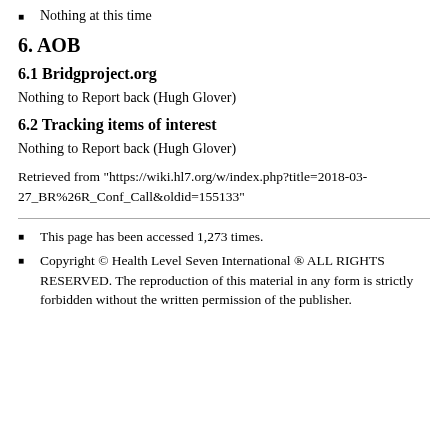Nothing at this time
6. AOB
6.1 Bridgproject.org
Nothing to Report back (Hugh Glover)
6.2 Tracking items of interest
Nothing to Report back (Hugh Glover)
Retrieved from "https://wiki.hl7.org/w/index.php?title=2018-03-27_BR%26R_Conf_Call&oldid=155133"
This page has been accessed 1,273 times.
Copyright © Health Level Seven International ® ALL RIGHTS RESERVED. The reproduction of this material in any form is strictly forbidden without the written permission of the publisher.